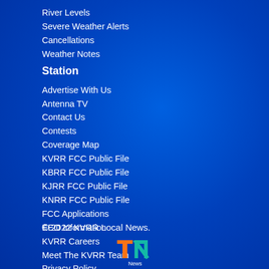River Levels
Severe Weather Alerts
Cancellations
Weather Notes
Station
Advertise With Us
Antenna TV
Contact Us
Contests
Coverage Map
KVRR FCC Public File
KBRR FCC Public File
KJRR FCC Public File
KNRR FCC Public File
FCC Applications
EEO Information
KVRR Careers
Meet The KVRR Team
Privacy Policy
Schedule
Terms of Use
© 2022 KVRR Local News.
[Figure (logo): TN News logo with orange T and teal N letters]